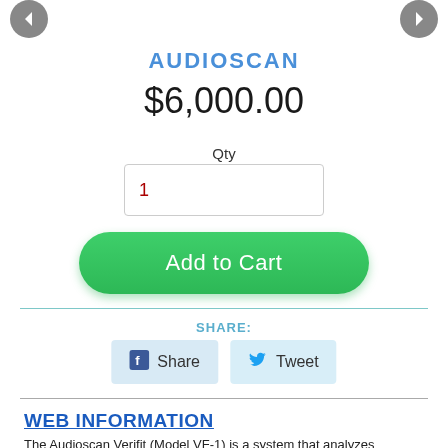[Figure (other): Navigation arrow circles at top left and top right of page]
AUDIOSCAN
$6,000.00
Qty
1
Add to Cart
SHARE:
Share
Tweet
WEB INFORMATION
The Audioscan Verifit (Model VF-1) is a system that analyzes